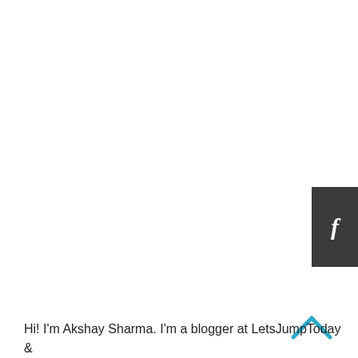[Figure (logo): Facebook icon button - dark gray square with white italic 'f' letter]
About Me
[Figure (photo): Photo of Akshay Sharma, a man in orange shirt holding a clay sculpture figure]
[Figure (other): Back to top chevron arrow pointing upward in blue/cyan color]
Hi! I'm Akshay Sharma. I'm a blogger at LetsJumpToday &